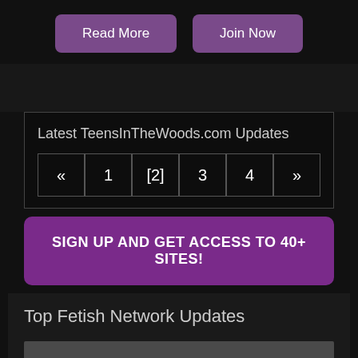Read More
Join Now
Latest TeensInTheWoods.com Updates
« 1 [2] 3 4 »
SIGN UP AND GET ACCESS TO 40+ SITES!
Top Fetish Network Updates
Most Viewed
Highest Rated